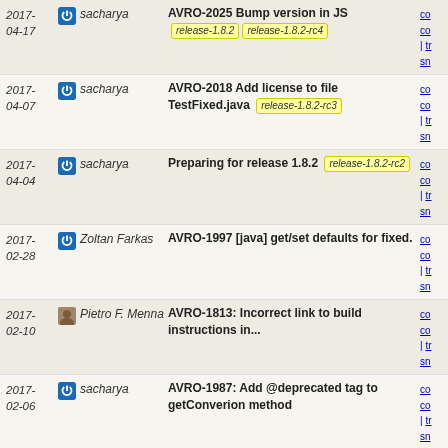2017-04-17 | sacharya | AVRO-2025 Bump version in JS | release-1.8.2 release-1.8.2-rc4
2017-04-07 | sacharya | AVRO-2018 Add license to file TestFixed.java | release-1.8.2-rc3
2017-04-04 | sacharya | Preparing for release 1.8.2 | release-1.8.2-rc2
2017-02-28 | Zoltan Farkas | AVRO-1997 [java] get/set defaults for fixed.
2017-02-10 | Pietro F. Menna | AVRO-1813: Incorrect link to build instructions in...
2017-02-06 | sacharya | AVRO-1987: Add @deprecated tag to getConverion method
2016-11-06 | Ryan Blue | AVRO-1897 ADDENDUM: Install all Java artifacts during... | release-1.8.2-rc1
2016-11-05 | Ryan Blue | Revert "AVRO-1626: C#: Fix Avro.pref build error. Contr...
2016-11-05 | Ryan Blue | AVRO-1951: Python: Fix ipc_test.py with a valid DNS...
2016-11-05 | Ryan Blue | AVRO-1907 ADDENDUM: Do not warn when logical type name...